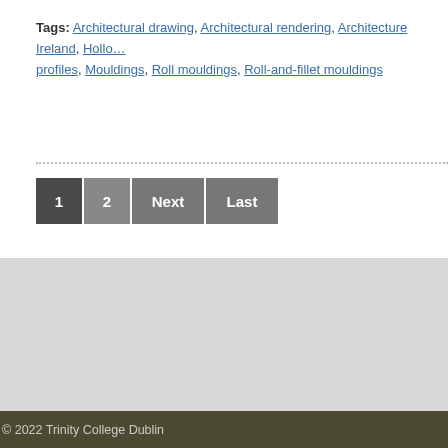Tags: Architectural drawing, Architectural rendering, Architecture Ireland, Hollow profiles, Mouldings, Roll mouldings, Roll-and-fillet mouldings
1  2  Next  Last
[Figure (logo): IRCHN and Trinity College Dublin logos on grey background]
© 2022 Trinity College Dublin